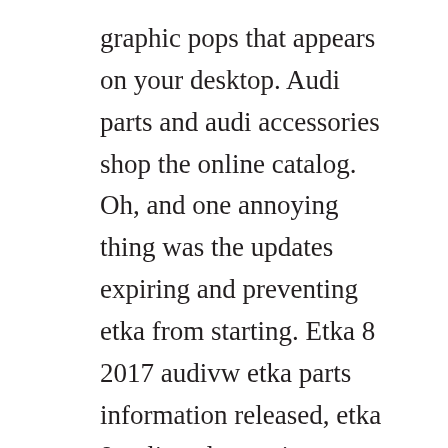graphic pops that appears on your desktop. Audi parts and audi accessories shop the online catalog. Oh, and one annoying thing was the updates expiring and preventing etka from starting. Etka 8 2017 audivw etka parts information released, etka 8 online electronic catalogue included vw audi etka till 2017. If you want to find your car manually, you should do the following steps, click on the logo of the brand, example, audi, volkswagen, skoda and seat. Oct 08, 2017, etka 8 v2017 is a full version of the original vwseatskoda audi electronic parts catalogue including the latest